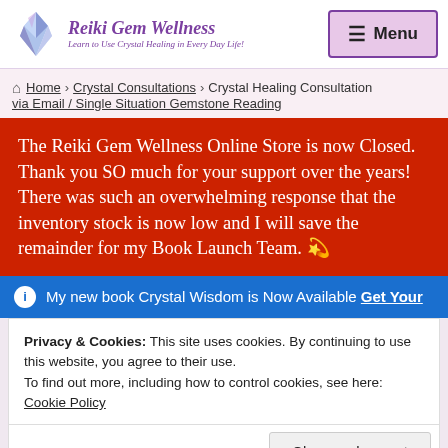[Figure (logo): Reiki Gem Wellness logo with crystal gem icon, purple italic text 'Reiki Gem Wellness' and subtitle 'Learn to Use Crystal Healing in Every Day Life!']
Menu
Home > Crystal Consultations > Crystal Healing Consultation via Email / Single Situation Gemstone Reading
The Reiki Gem Wellness Online Store is now Closed. Thank you SO much for your support over the years! There was such an overwhelming response that the inventory stock is now low and I will save the remainder for my Book Launch Team. 💫
ℹ My new book Crystal Wisdom is Now Available Get Your
Privacy & Cookies: This site uses cookies. By continuing to use this website, you agree to their use.
To find out more, including how to control cookies, see here: Cookie Policy
Close and accept